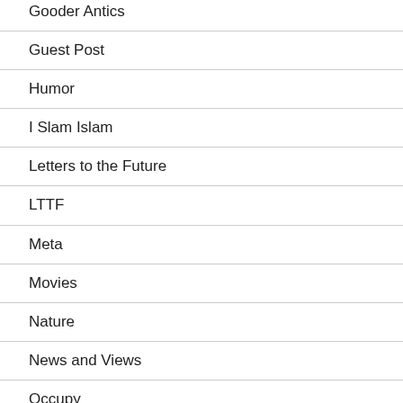Gooder Antics
Guest Post
Humor
I Slam Islam
Letters to the Future
LTTF
Meta
Movies
Nature
News and Views
Occupy
Off Topic